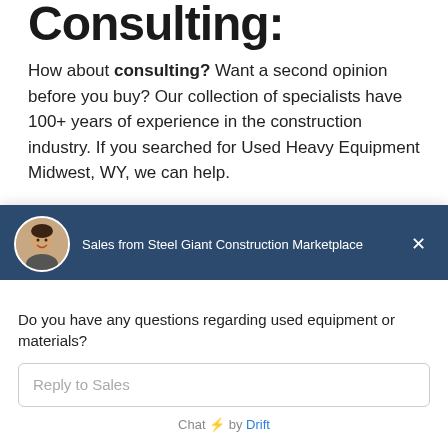Consulting?
How about consulting? Want a second opinion before you buy? Our collection of specialists have 100+ years of experience in the construction industry. If you searched for Used Heavy Equipment Midwest, WY, we can help.
[Figure (other): Orange button with text 'Click here to get started']
Full-Service
[Figure (screenshot): Chat widget from Drift showing a sales agent avatar, message 'Do you have any questions regarding used equipment or materials?', reply input field, and 'Chat by Drift' footer]